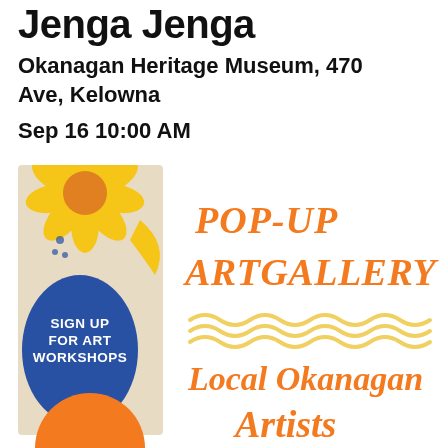Jenga Jenga
Okanagan Heritage Museum, 470 Ave, Kelowna
Sep 16 10:00 AM
[Figure (illustration): Event promotional flyer for Pop-up Art Gallery featuring local Okanagan Artists. Left side shows a vertical banner with a yellow flower, blue organic shape, and text 'SIGN UP FOR ART WORKSHOPS' on white text over blue. Right side shows orange italic handwritten-style text reading 'POP-UP ART GALLERY' and below wavy yellow lines followed by 'Local Okanagan Artists' in orange script. Bottom has an orange circle partially visible.]